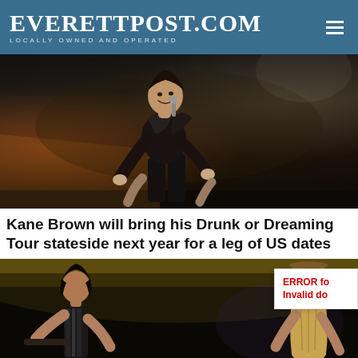EverettPost.com — Locally Owned and Operated
[Figure (photo): Concert performer in black outfit leaning toward audience on stage with dramatic lighting]
Kane Brown will bring his Drunk or Dreaming Tour stateside next year for a leg of US dates
[Figure (photo): Two musicians performing on stage, one with long dark hair and one with ZZ Top-style long beard and sunglasses, with error badge overlay reading ERROR fo Invalid do]
ERROR fo Invalid do